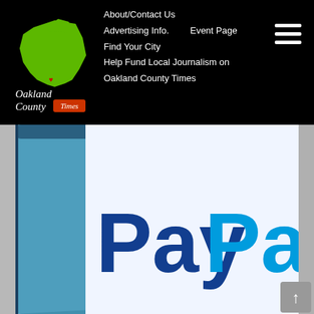About/Contact Us  Advertising Info.  Event Page  Find Your City  Help Fund Local Journalism on Oakland County Times
[Figure (logo): Oakland County Times logo with green Michigan state outline and red text 'Times']
[Figure (photo): PayPal app logo on a smartphone screen with blue and white branding]
[Figure (illustration): Dark red damask patterned advertisement placeholder reading 'Your ad Here' in gold serif text]